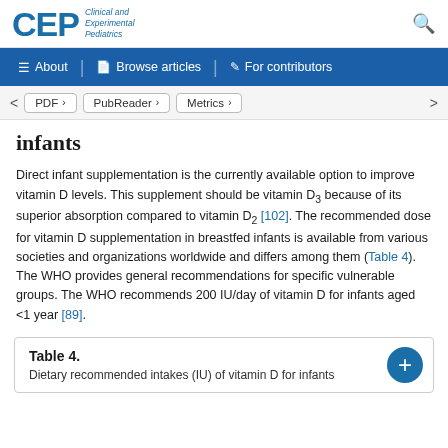CEP Clinical and Experimental Pediatrics
About | Browse articles | For contributors
PDF > PubReader > Metrics >
infants
Direct infant supplementation is the currently available option to improve vitamin D levels. This supplement should be vitamin D3 because of its superior absorption compared to vitamin D2 [102]. The recommended dose for vitamin D supplementation in breastfed infants is available from various societies and organizations worldwide and differs among them (Table 4). The WHO provides general recommendations for specific vulnerable groups. The WHO recommends 200 IU/day of vitamin D for infants aged <1 year [89].